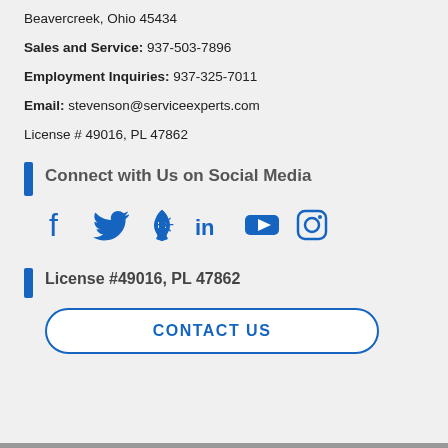Beavercreek, Ohio 45434
Sales and Service: 937-503-7896
Employment Inquiries: 937-325-7011
Email: stevenson@serviceexperts.com
License # 49016, PL 47862
Connect with Us on Social Media
[Figure (infographic): Social media icons: Facebook, Twitter, Yelp, LinkedIn, YouTube, Instagram — all in blue]
License #49016, PL 47862
CONTACT US